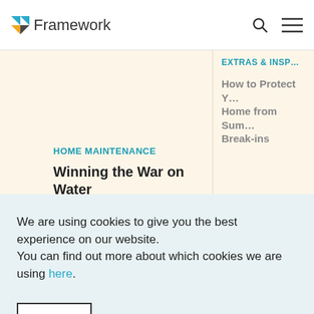Framework
EXTRAS & INSP…
HOME MAINTENANCE
Winning the War on Water
How to Protect Your Home from Summer Break-ins
We are using cookies to give you the best experience on our website.
You can find out more about which cookies we are using here.
OK